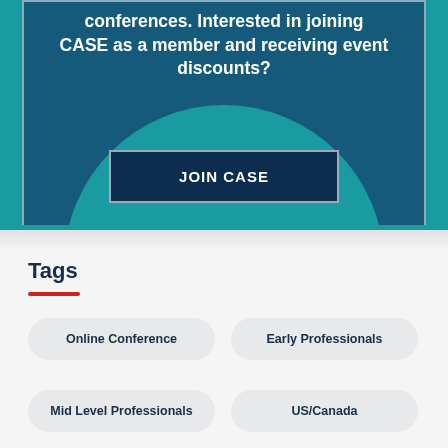conferences. Interested in joining CASE as a member and receiving event discounts?
JOIN CASE
Tags
Online Conference
Early Professionals
Mid Level Professionals
US/Canada